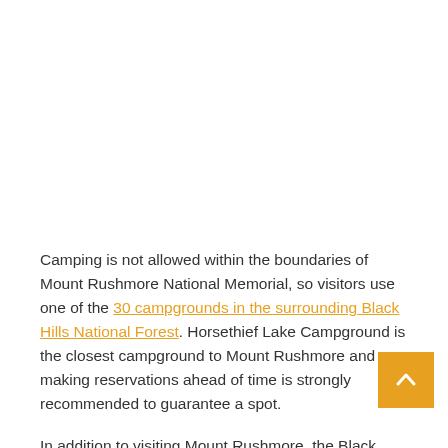Camping is not allowed within the boundaries of Mount Rushmore National Memorial, so visitors use one of the 30 campgrounds in the surrounding Black Hills National Forest. Horsethief Lake Campground is the closest campground to Mount Rushmore and making reservations ahead of time is strongly recommended to guarantee a spot.
In addition to visiting Mount Rushmore, the Black Hills National Forest has over 1,500 miles of hiking trails and is a great place for